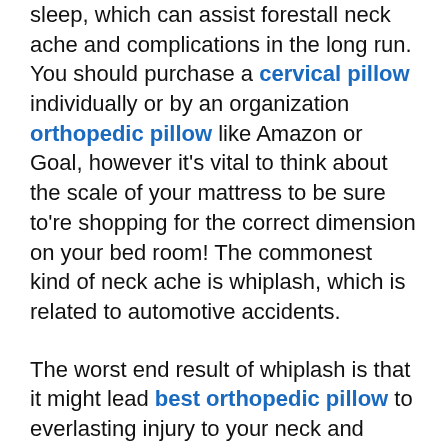sleep, which can assist forestall neck ache and complications in the long run. You should purchase a cervical pillow individually or by an organization orthopedic pillow like Amazon or Goal, however it's vital to think about the scale of your mattress to be sure to're shopping for the correct dimension on your bed room! The commonest kind of neck ache is whiplash, which is related to automotive accidents.
The worst end result of whiplash is that it might lead best orthopedic pillow to everlasting injury to your neck and accidents that may go away you with ache for years. The truth is, one in each two folks will develop a whiplash damage sooner or later of their lives. Within the brief time period, this ache might be so intense that it feels as if somebody has hit you at the